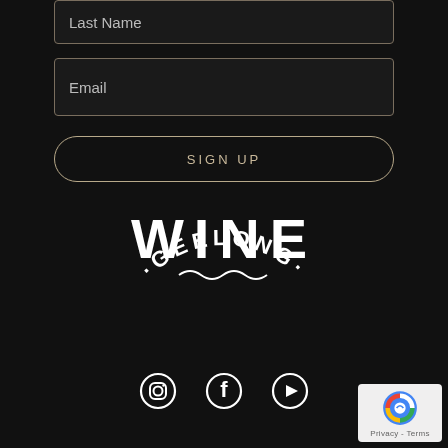Last Name
Email
SIGN UP
[Figure (logo): Wine Geelong logo — large bold 'WINE' text, wavy line, and arced 'GEELONG' text with dots, in white on dark background]
[Figure (other): Social media icons: Instagram, Facebook, YouTube in white circles/outlines]
[Figure (other): Google reCAPTCHA badge with Privacy and Terms links]